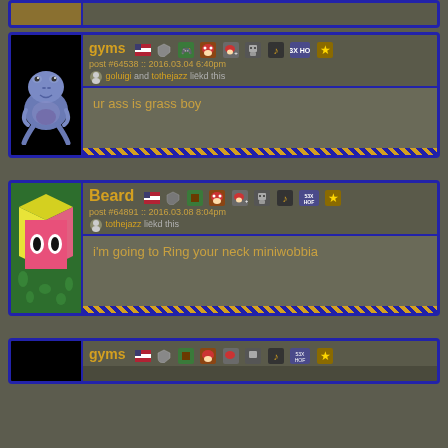[Figure (screenshot): Forum post by user 'gyms' with a blue frog avatar on black background. Post #64538, 2016.03.04 6:40pm. Liked by goluigi and tothejazz. Post content: 'ur ass is grass boy'. User has badges including US flag, shield, and various gaming icons.]
[Figure (screenshot): Forum post by user 'Beard' with a cube character avatar (yellow top, pink front with eyes, green leafy background). Post #64891, 2016.03.08 8:04pm. Liked by tothejazz. Post content: 'i'm going to Ring your neck miniwobbia'. User has badges including US flag, shield, and various gaming icons.]
[Figure (screenshot): Partial forum post by user 'gyms' at the bottom of the page, cropped. Only the header with username and badges is visible. Black avatar area.]